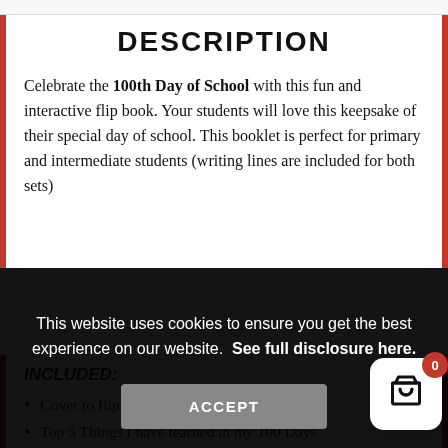DESCRIPTION
Celebrate the 100th Day of School with this fun and interactive flip book. Your students will love this keepsake of their special day of school. This booklet is perfect for primary and intermediate students (writing lines are included for both sets)
This website uses cookies to ensure you get the best experience on our website.  See full disclosure here.
ACCEPT
INCLUDED:
Cover to flip booklet: colored and BW
Top 5 Things I have learned in my 100 Days